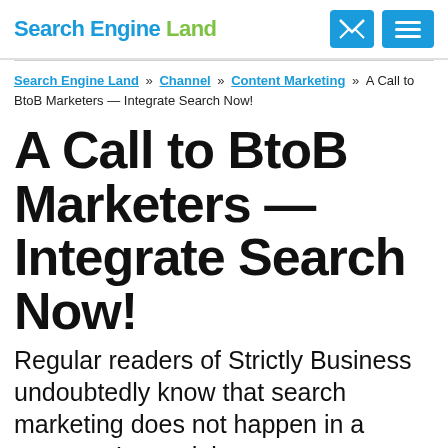Search Engine Land
Search Engine Land » Channel » Content Marketing » A Call to BtoB Marketers — Integrate Search Now!
A Call to BtoB Marketers — Integrate Search Now!
Regular readers of Strictly Business undoubtedly know that search marketing does not happen in a vacuum. Instead, it